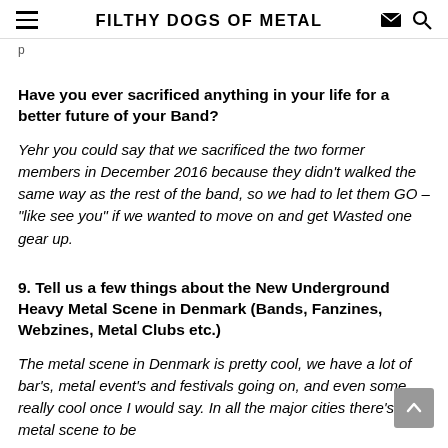FILTHY DOGS OF METAL
p
Have you ever sacrificed anything in your life for a better future of your Band?
Yehr you could say that we sacrificed the two former members in December 2016 because they didn't walked the same way as the rest of the band, so we had to let them GO – "like see you" if we wanted to move on and get Wasted one gear up.
9. Tell us a few things about the New Underground Heavy Metal Scene in Denmark (Bands, Fanzines, Webzines, Metal Clubs etc.)
The metal scene in Denmark is pretty cool, we have a lot of bar's, metal event's and festivals going on, and even some really cool once I would say. In all the major cities there's a metal scene to be